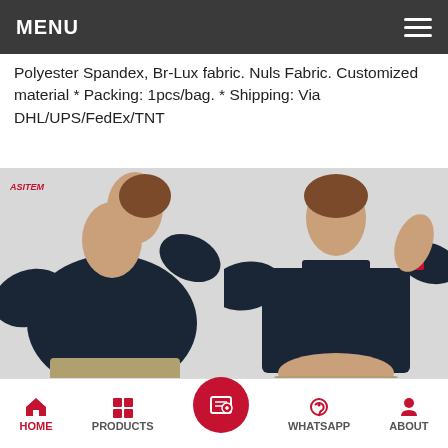MENU
Polyester Spandex, Br-Lux fabric. Nuls Fabric. Customized material * Packing: 1pcs/bag. * Shipping: Via DHL/UPS/FedEx/TNT
[Figure (photo): Two photos of a model wearing a dark navy cropped long-sleeve top with a U-neck design, shown from two angles side by side.]
Stitching Details For Fitness Wear :
* U neck
* Cropped length
* Molded one-piece pad for support, shape & separation
HOME   PRODUCTS   WHATSAPP   ABOUT